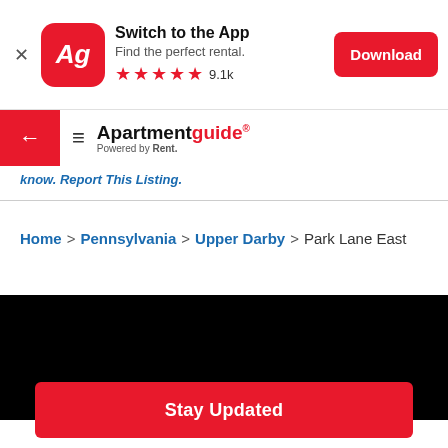[Figure (screenshot): App download banner with Apartmentguide logo (Ag), Switch to the App text, 5 red stars with 9.1k reviews, and a red Download button]
Apartmentguide - Powered by Rent.
know. Report This Listing.
Home > Pennsylvania > Upper Darby > Park Lane East
[Figure (photo): Black rectangle image area]
Stay Updated